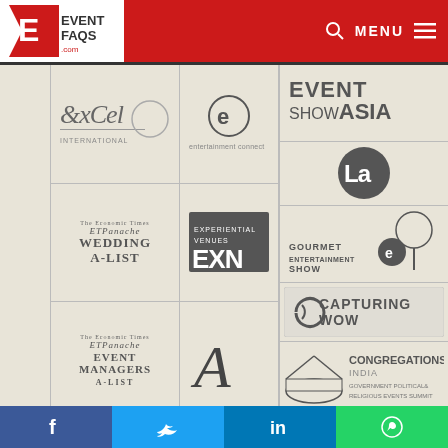[Figure (logo): EventFAQs.com logo with red polygon E and text EVENT FAQS .com]
[Figure (logo): Excel International logo]
[Figure (logo): Entertainment Connect logo]
[Figure (logo): Event Show Asia logo]
[Figure (logo): ET Panache Wedding A-List logo]
[Figure (logo): Experiential Venues EXN logo]
[Figure (logo): LA logo circular dark]
[Figure (logo): ET Panache Event Managers A-List logo]
[Figure (logo): Alternair A logo]
[Figure (logo): Gourmet Entertainment Show logo]
[Figure (logo): Capturing WOW logo]
[Figure (logo): Congregations India Government Political Religious Events Summit logo]
[Figure (logo): EventFAQs Mettle Awards - Saluting Our Lockdown Heroes logo]
[Figure (logo): Social media footer icons: Facebook, Twitter, LinkedIn, WhatsApp]